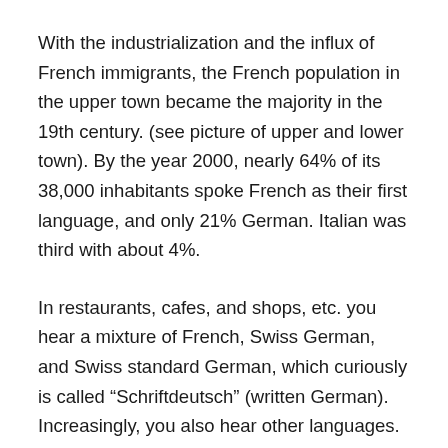With the industrialization and the influx of French immigrants, the French population in the upper town became the majority in the 19th century. (see picture of upper and lower town). By the year 2000, nearly 64% of its 38,000 inhabitants spoke French as their first language, and only 21% German. Italian was third with about 4%.
In restaurants, cafes, and shops, etc. you hear a mixture of French, Swiss German, and Swiss standard German, which curiously is called “Schriftdeutsch” (written German). Increasingly, you also hear other languages. In 2008 nearly 32% of the population were resident foreign nationals.